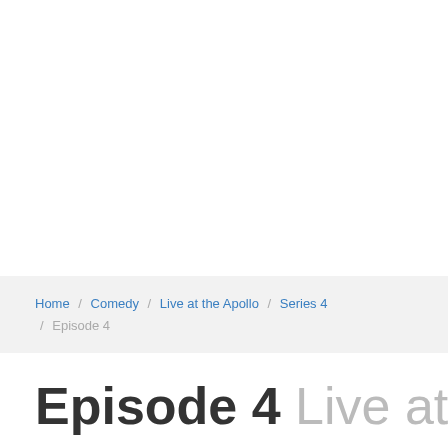Home / Comedy / Live at the Apollo / Series 4 / Episode 4
Episode 4 Live at the